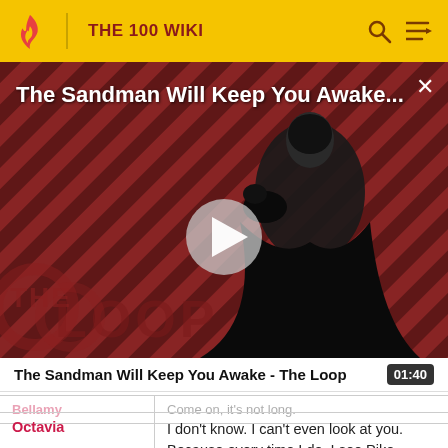THE 100 WIKI
[Figure (screenshot): Video thumbnail showing a dark figure in black robes against a diagonal striped red/dark background, with 'The Loop' watermark and a play button overlay. Title reads 'The Sandman Will Keep You Awake...' with a close button.]
The Sandman Will Keep You Awake - The Loop
01:40
| Bellamy | Come on, it's not long. |
| Octavia | I don't know. I can't even look at you. Because every time I do, I see Pike putting that gun to Lincoln's head. I |
Octavia
I don't know. I can't even look at you. Because every time I do, I see Pike putting that gun to Lincoln's head. I